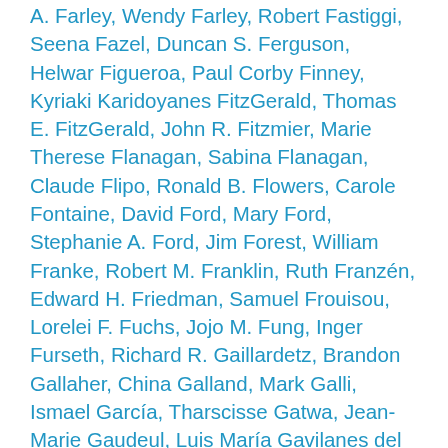A. Farley, Wendy Farley, Robert Fastiggi, Seena Fazel, Duncan S. Ferguson, Helwar Figueroa, Paul Corby Finney, Kyriaki Karidoyanes FitzGerald, Thomas E. FitzGerald, John R. Fitzmier, Marie Therese Flanagan, Sabina Flanagan, Claude Flipo, Ronald B. Flowers, Carole Fontaine, David Ford, Mary Ford, Stephanie A. Ford, Jim Forest, William Franke, Robert M. Franklin, Ruth Franzén, Edward H. Friedman, Samuel Frouisou, Lorelei F. Fuchs, Jojo M. Fung, Inger Furseth, Richard R. Gaillardetz, Brandon Gallaher, China Galland, Mark Galli, Ismael García, Tharscisse Gatwa, Jean-Marie Gaudeul, Luis María Gavilanes del Castillo, Pavel L. Gavrilyuk, Volney P. Gay, Metropolitan Athanasios Geevargis, Kondothra M. George, Mary Gerhart, Simon Gikandi, Maurice Gilbert, Michael J. Gillgannon, Verónica Giménez Beliveau, Terryl Givens, Beth Glazier-McDonald, Philip Gleason, Menghun Goh, Brian Golding, Bishop Hilario M. Gomez, Michelle A. Gonzalez, Donald K. Gorrell, Roy Gottfried, Tamara Grdzelidze, Joel B. Green, Niels Henrik Gregersen, Cristina Grenholm, Herbert Griffiths, Eric W. Gritsch, Erich S. Gruen, Christoffer H. Grundmann, Paul H. Gundani, Jon P. Gunnemann, Petre Guran, Vidar L. Haanes, Leonid M. Hachette, Peter van Harike Dussel